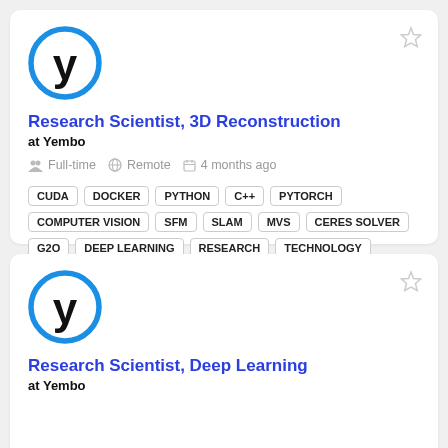[Figure (logo): Yembo company logo: letter y in black inside a blue circle]
Research Scientist, 3D Reconstruction
at Yembo
Full-time  Remote  4 months ago
CUDA
DOCKER
PYTHON
C++
PYTORCH
COMPUTER VISION
SFM
SLAM
MVS
CERES SOLVER
G2O
DEEP LEARNING
RESEARCH
TECHNOLOGY
[Figure (logo): Yembo company logo: letter y in black inside a blue circle]
Research Scientist, Deep Learning
at Yembo